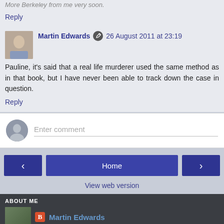More Berkeley from me very soon.
Reply
Martin Edwards  26 August 2011 at 23:19
Pauline, it's said that a real life murderer used the same method as in that book, but I have never been able to track down the case in question.
Reply
Enter comment
Home
View web version
ABOUT ME
Martin Edwards